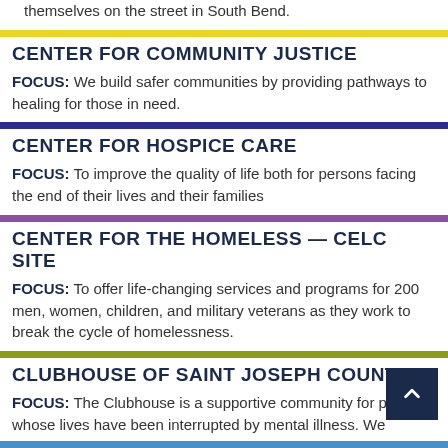themselves on the street in South Bend.
CENTER FOR COMMUNITY JUSTICE
FOCUS: We build safer communities by providing pathways to healing for those in need.
CENTER FOR HOSPICE CARE
FOCUS: To improve the quality of life both for persons facing the end of their lives and their families
CENTER FOR THE HOMELESS — CELC SITE
FOCUS: To offer life-changing services and programs for 200 men, women, children, and military veterans as they work to break the cycle of homelessness.
CLUBHOUSE OF SAINT JOSEPH COUNTY
FOCUS: The Clubhouse is a supportive community for people whose lives have been interrupted by mental illness. We provide opportunities for employment education and wellness. .